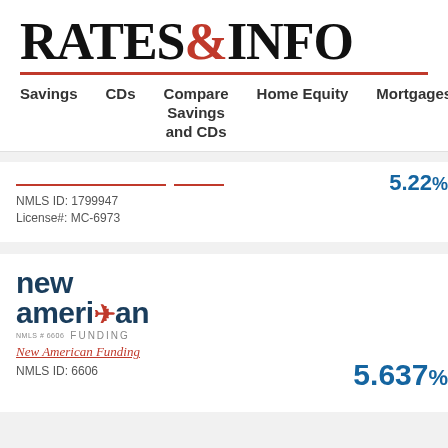RATES&INFO
Savings | CDs | Compare Savings and CDs | Home Equity | Mortgages | Loan
NMLS ID: 1799947
License#: MC-6973
[Figure (logo): New American Funding logo with star graphic and NMLS #6606]
New American Funding
5.637%
NMLS ID: 6606